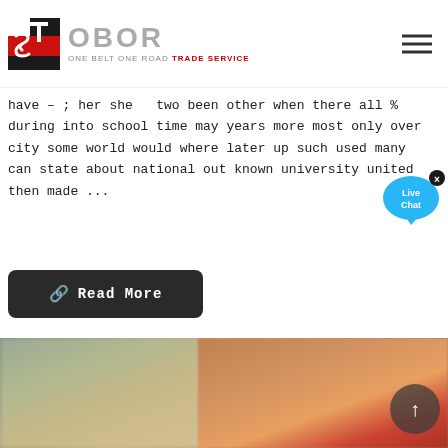[Figure (logo): OBOR Trade Service logo: red/black TS icon on left, grey OBOR text with tagline 'ONE BELT ONE ROAD TRADE SERVICE' in red on right]
have – ; her she   two been other when there all % during into school time may years more most only over city some world would where later up such used many can state about national out known university united then made ...
[Figure (other): Dark rounded-rectangle Read More button with chain-link icon]
[Figure (photo): Blurred outdoor photo showing construction or street scene with red graffiti or signage partial view at bottom of page]
[Figure (other): Live Chat speech bubble widget in blue, top right area]